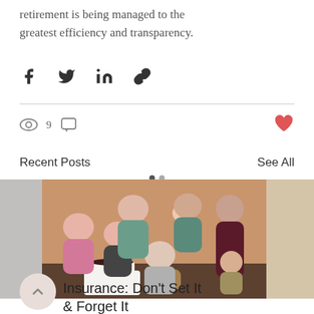retirement is being managed to the greatest efficiency and transparency.
[Figure (infographic): Social share bar with Facebook, Twitter, LinkedIn, and link icons]
[Figure (infographic): Engagement bar with eye icon showing 9 views, comment icon, and heart/like icon in red]
Recent Posts
See All
[Figure (photo): Family photo with elderly woman seated at table with birthday cake, surrounded by several younger family members including children and adult women]
Insurance: Don't Set It & Forget It